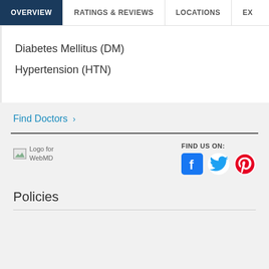OVERVIEW | RATINGS & REVIEWS | LOCATIONS | EX
Diabetes Mellitus (DM)
Hypertension (HTN)
Find Doctors >
[Figure (logo): Broken image placeholder for WebMD logo with text 'Logo for WebMD']
FIND US ON:
[Figure (illustration): Social media icons: Facebook (blue), Twitter (light blue), Pinterest (red)]
Policies